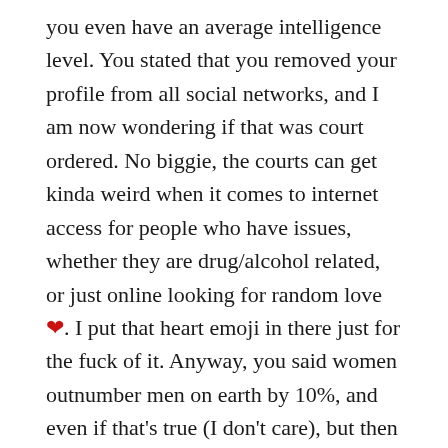you even have an average intelligence level. You stated that you removed your profile from all social networks, and I am now wondering if that was court ordered. No biggie, the courts can get kinda weird when it comes to internet access for people who have issues, whether they are drug/alcohol related, or just online looking for random love ❤. I put that heart emoji in there just for the fuck of it. Anyway, you said women outnumber men on earth by 10%, and even if that's true (I don't care), but then you said "lol." I don't get that. Even if you were providing scientific data, or figures you had obtained DIRECTLY from the census bureau, why would you lol about that? Something is amiss, and I feel like as a young